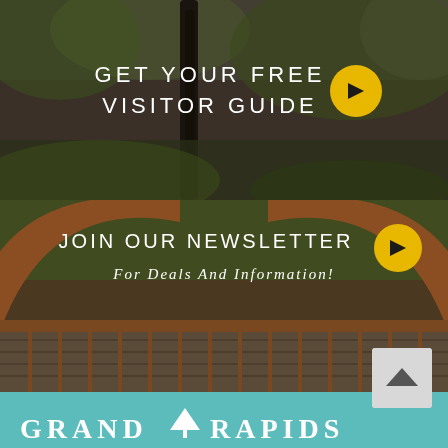[Figure (photo): Dark forest/nature background with a kayak paddle visible, overlaid with call-to-action text: GET YOUR FREE VISITOR GUIDE with a yellow arrow circle button]
[Figure (photo): Wooden pedestrian bridge with arched rust-colored railings and green trees background, overlaid with newsletter sign-up text]
GET YOUR FREE VISITOR GUIDE
JOIN OUR NEWSLETTER
For Deals And Information!
GRAND RAPIDS